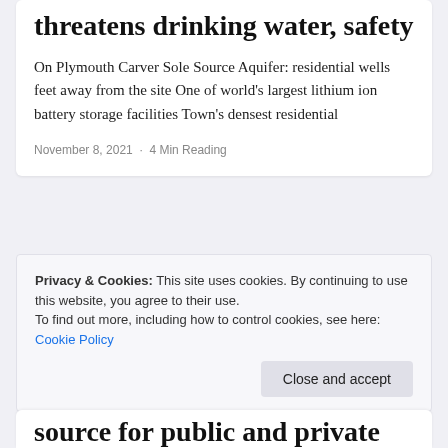threatens drinking water, safety
On Plymouth Carver Sole Source Aquifer: residential wells feet away from the site One of world's largest lithium ion battery storage facilities Town's densest residential
November 8, 2021  ·  4 Min Reading
Privacy & Cookies: This site uses cookies. By continuing to use this website, you agree to their use.
To find out more, including how to control cookies, see here: Cookie Policy
Close and accept
source for public and private